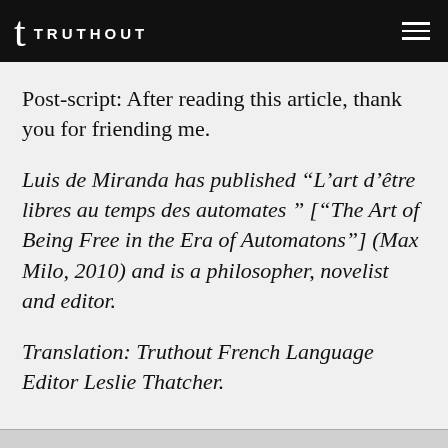TRUTHOUT
Post-script: After reading this article, thank you for friending me.
Luis de Miranda has published “L’art d’être libres au temps des automates ” [“The Art of Being Free in the Era of Automatons”] (Max Milo, 2010) and is a philosopher, novelist and editor.
Translation: Truthout French Language Editor Leslie Thatcher.